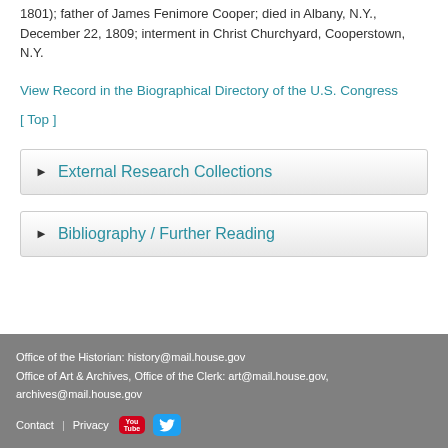1801); father of James Fenimore Cooper; died in Albany, N.Y., December 22, 1809; interment in Christ Churchyard, Cooperstown, N.Y.
View Record in the Biographical Directory of the U.S. Congress
[ Top ]
► External Research Collections
► Bibliography / Further Reading
Office of the Historian: history@mail.house.gov
Office of Art & Archives, Office of the Clerk: art@mail.house.gov, archives@mail.house.gov
Contact | Privacy